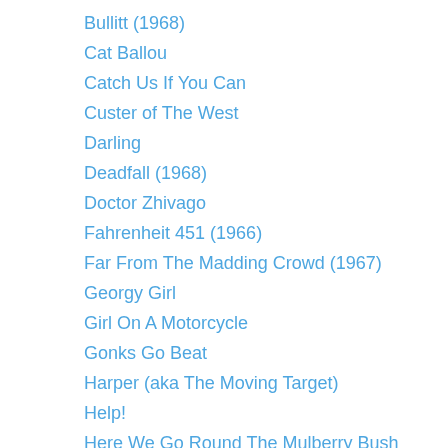Bullitt (1968)
Cat Ballou
Catch Us If You Can
Custer of The West
Darling
Deadfall (1968)
Doctor Zhivago
Fahrenheit 451 (1966)
Far From The Madding Crowd (1967)
Georgy Girl
Girl On A Motorcycle
Gonks Go Beat
Harper (aka The Moving Target)
Help!
Here We Go Round The Mulberry Bush
How I Won The War
I'll Never Forget What's 'Is Name
If ….
Just For You
Little Fauss & Big Halsy